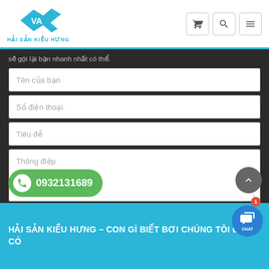HẢI SẢN KIỀU HƯNG
sẽ gọi lại bạn nhanh nhất có thể.
Tên của bạn
Số điện thoại
Tiêu đề
Thông điệp
GỬI ĐI
0932131689
HẢI SẢN KIỀU HƯNG – CON GÌ BIẾT BƠI CHÚNG TÔI ĐỀU CÓ